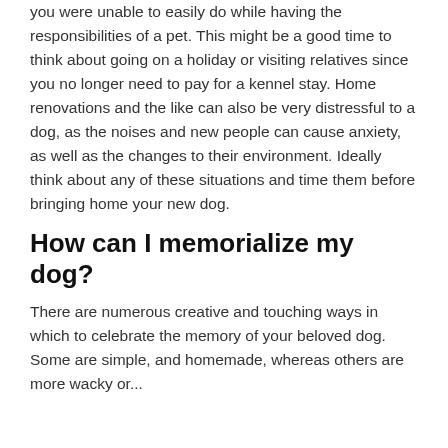you were unable to easily do while having the responsibilities of a pet. This might be a good time to think about going on a holiday or visiting relatives since you no longer need to pay for a kennel stay. Home renovations and the like can also be very distressful to a dog, as the noises and new people can cause anxiety, as well as the changes to their environment. Ideally think about any of these situations and time them before bringing home your new dog.
How can I memorialize my dog?
There are numerous creative and touching ways in which to celebrate the memory of your beloved dog. Some are simple, and homemade, whereas others are more wacky or...